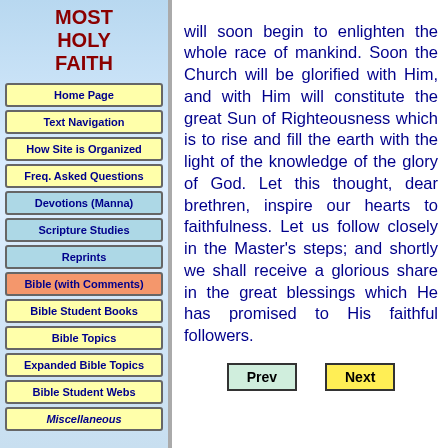MOST HOLY FAITH
Home Page
Text Navigation
How Site is Organized
Freq. Asked Questions
Devotions (Manna)
Scripture Studies
Reprints
Bible (with Comments)
Bible Student Books
Bible Topics
Expanded Bible Topics
Bible Student Webs
Miscellaneous
will soon begin to enlighten the whole race of mankind. Soon the Church will be glorified with Him, and with Him will constitute the great Sun of Righteousness which is to rise and fill the earth with the light of the knowledge of the glory of God. Let this thought, dear brethren, inspire our hearts to faithfulness. Let us follow closely in the Master's steps; and shortly we shall receive a glorious share in the great blessings which He has promised to His faithful followers.
Prev | Next